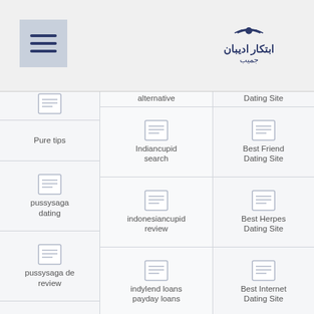[Figure (screenshot): Website screenshot showing a navigation page with a hamburger menu button on the top left, a Persian/Arabic logo on the top right, and a three-column grid of navigation links with document icons. Left column items: Pure tips, pussysaga dating, pussysaga de review, PussySaga visitors. Middle column items: alternative (cut off top), Indiancupid search, indonesiancupid review, indylend loans payday loans. Right column items: Dating Site (cut off top), Best Friend Dating Site, Best Herpes Dating Site, Best Internet Dating Site, Best Married (cut off bottom).]